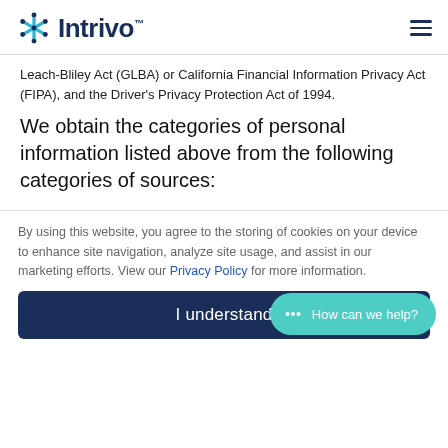Intrivo
Leach-Bliley Act (GLBA) or California Financial Information Privacy Act (FIPA), and the Driver's Privacy Protection Act of 1994.
We obtain the categories of personal information listed above from the following categories of sources:
By using this website, you agree to the storing of cookies on your device to enhance site navigation, analyze site usage, and assist in our marketing efforts. View our Privacy Policy for more information.
I understand
How can we help?